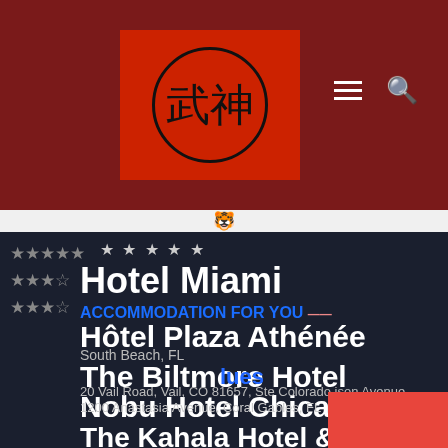[Figure (screenshot): Website header with red/dark red background, red square logo containing a circular kanji symbol, hamburger menu icon and search icon on the right]
[Figure (screenshot): Overlapping hotel listing cards on dark navy background showing: 'Hotel Miami', 'ACCOMMODATION FOR YOU', 'Hôtel Plaza Athénée', 'The Biltmore Hotel', 'Nobu Hotel Chicago', 'The Kahala Hotel & Resort' with addresses including South Beach FL, Vail CO, Coral Gables FL, Loop IL, and Honolulu. Price shown as $88.00 in red box.]